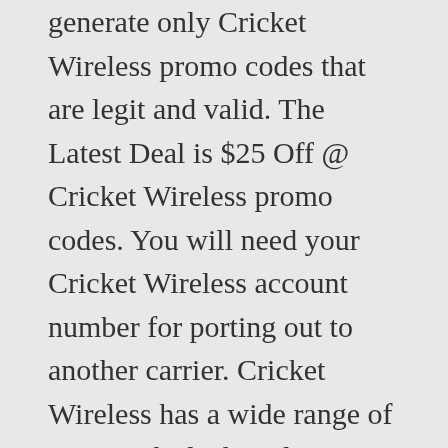generate only Cricket Wireless promo codes that are legit and valid. The Latest Deal is $25 Off @ Cricket Wireless promo codes. You will need your Cricket Wireless account number for porting out to another carrier. Cricket Wireless has a wide range of savings deals directly on their website- from family plan deals to discounts on cell phones. Cyber Monday takes the form of coupons or percentage discounts and limited-time promotions. This page outlines how to get your Cricket account number and PIN. Don't Miss Out On Latest Updates And Deals. Some people may find such speeds low, particularly when compared to those of the AT&T LTE Network which are up to 5 times faster. The Cricket